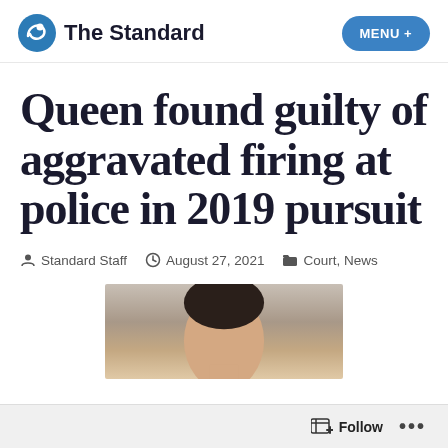The Standard | MENU +
Queen found guilty of aggravated firing at police in 2019 pursuit
Standard Staff   August 27, 2021   Court, News
[Figure (photo): Headshot photo of a person, partially cropped, showing top of head and forehead against a grey background]
Follow   ...